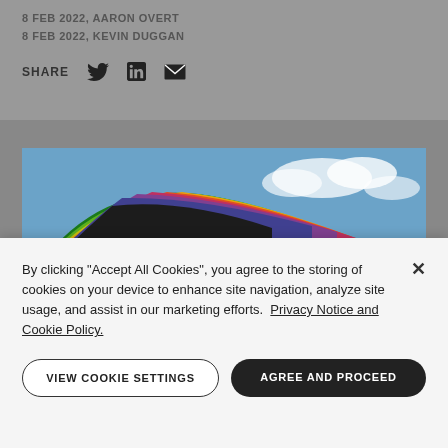8 FEB 2022, AARON OVERT
8 FEB 2022, KEVIN DUGGAN
SHARE
[Figure (photo): Architectural photo of a large curved rainbow-colored structure against a blue sky with clouds. The structure shows a gradient from purple/pink at the top to yellow and green at the bottom, with a small human figure visible for scale.]
By clicking "Accept All Cookies", you agree to the storing of cookies on your device to enhance site navigation, analyze site usage, and assist in our marketing efforts. Privacy Notice and Cookie Policy.
VIEW COOKIE SETTINGS
AGREE AND PROCEED